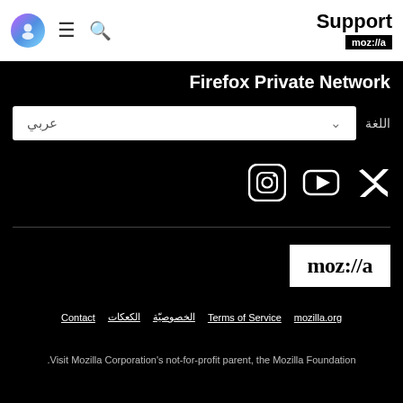[Figure (screenshot): Mozilla Support page header with avatar icon, hamburger menu, search icon, and Support moz://a logo]
Firefox Private Network
اللغة عربي
[Figure (other): Social media icons: Instagram, YouTube, Twitter]
[Figure (logo): moz://a logo in white box]
Contact  الكعكات  الخصوصيّة  Terms of Service  mozilla.org
Visit Mozilla Corporation's not-for-profit parent, the Mozilla Foundation.